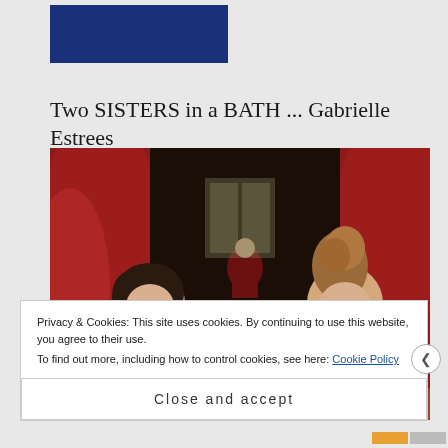[Figure (logo): Dark navy/blue rectangle logo block in top left area]
Two SISTERS in a BATH ... Gabrielle Estrees
[Figure (photo): Renaissance-era oil painting showing two nude women in a bath with red curtains, a figure visible in the background]
Privacy & Cookies: This site uses cookies. By continuing to use this website, you agree to their use.
To find out more, including how to control cookies, see here: Cookie Policy
Close and accept